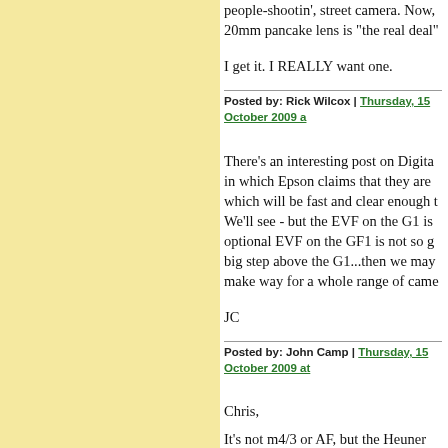people-shootin', street camera. Now, 20mm pancake lens is "the real deal"
I get it. I REALLY want one.
Posted by: Rick Wilcox | Thursday, 15 October 2009 a
There's an interesting post on Digita in which Epson claims that they are which will be fast and clear enough t We'll see - but the EVF on the G1 is optional EVF on the GF1 is not so g big step above the G1...then we may make way for a whole range of came
JC
Posted by: John Camp | Thursday, 15 October 2009 at
Chris,
It's not m4/3 or AF, but the Heuner